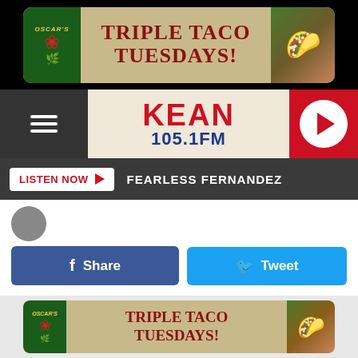[Figure (photo): Oscar's Triple Taco Tuesdays advertisement banner at top]
[Figure (logo): KEAN 105.1 FM radio station logo in navigation bar]
LISTEN NOW  FEARLESS FERNANDEZ
[Figure (infographic): Facebook Share and Twitter Tweet social sharing buttons]
The first day of school, for Abilene Independent School District, is Wednesday, August 17th. That means we're less than 2 months away from the start of a new school year.
That also means there will be students who begin the school year without new clothes, shoes, food, and even school supplies. That's because there are approximately 1,200
[Figure (photo): Oscar's Triple Taco Tuesdays advertisement banner at bottom]